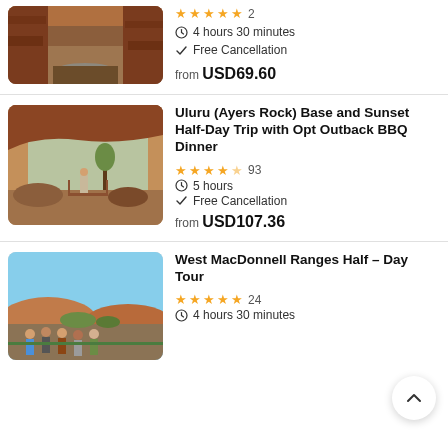[Figure (photo): Red canyon gorge with rocky walls and water, aerial/ground view]
★★★★★ 2
4 hours 30 minutes
✓ Free Cancellation
from USD69.60
[Figure (photo): Uluru rock formation view from cave overhang with person standing on wooden platform]
Uluru (Ayers Rock) Base and Sunset Half-Day Trip with Opt Outback BBQ Dinner
★★★★½ 93
5 hours
✓ Free Cancellation
from USD107.36
[Figure (photo): Group of tourists posing outdoors with mountain and trees in background, blue sky]
West MacDonnell Ranges Half - Day Tour
★★★★★ 24
4 hours 30 minutes